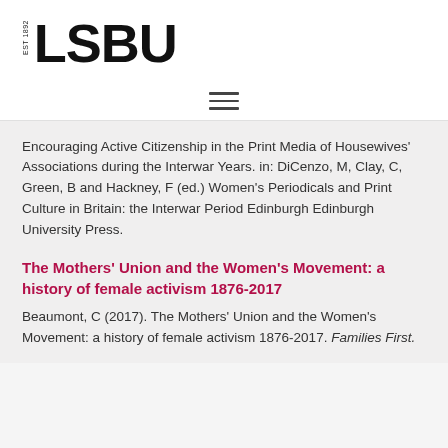[Figure (logo): LSBU logo with EST 1892 text and bold LSBU lettering]
[Figure (other): Hamburger menu icon with three horizontal lines]
Encouraging Active Citizenship in the Print Media of Housewives' Associations during the Interwar Years. in: DiCenzo, M, Clay, C, Green, B and Hackney, F (ed.) Women's Periodicals and Print Culture in Britain: the Interwar Period Edinburgh Edinburgh University Press.
The Mothers' Union and the Women's Movement: a history of female activism 1876-2017
Beaumont, C (2017). The Mothers' Union and the Women's Movement: a history of female activism 1876-2017. Families First.